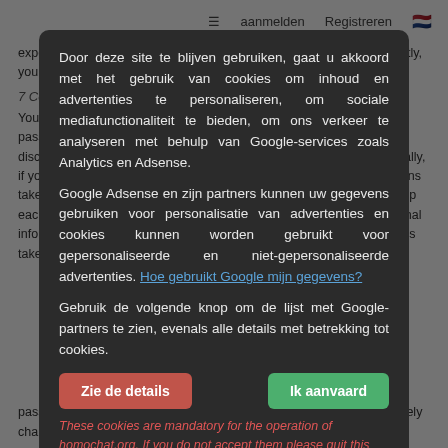≡   aanmelden   Registreren 🇳🇱
experience of similar products or similar service providers. Consequently, your results may vary.
7 Control of Your Password
You are solely responsible for maintaining the confidentiality of your password or login information and you are further notified that you not disclose your password or login information to any third party. Specifically, if you use internal services, you should also be responsible for all actions taken under your login information, password and therefore should keep each third-party's privacy policy. The you have control over your personal information after cookies and leave the site or to change binding actions taken on your behalf. Therefore if your password has been compromised for any reason you should immediately change your password
Door deze site te blijven gebruiken, gaat u akkoord met het gebruik van cookies om inhoud en advertenties te personaliseren, om sociale mediafunctionaliteit te bieden, om ons verkeer te analyseren met behulp van Google-services zoals Analytics en Adsense.
Google Adsense en zijn partners kunnen uw gegevens gebruiken voor personalisatie van advertenties en cookies kunnen worden gebruikt voor gepersonaliseerde en niet-gepersonaliseerde advertenties. Hoe gebruikt Google mijn gegevens?
Gebruik de volgende knop om de lijst met Google-partners te zien, evenals alle details met betrekking tot cookies.
These cookies are mandatory for the operation of homochat.org. If you do not accept them please quit this site.
You have the right to refuse cookies and leave the site or to change the parameters